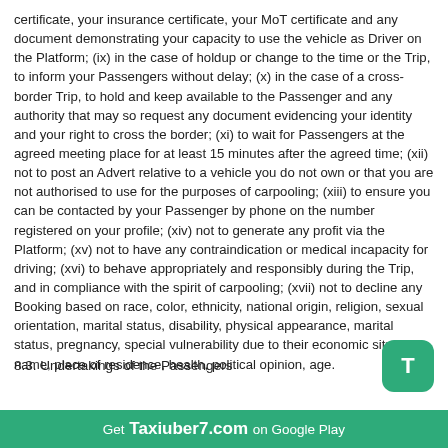certificate, your insurance certificate, your MoT certificate and any document demonstrating your capacity to use the vehicle as Driver on the Platform; (ix) in the case of holdup or change to the time or the Trip, to inform your Passengers without delay; (x) in the case of a cross-border Trip, to hold and keep available to the Passenger and any authority that may so request any document evidencing your identity and your right to cross the border; (xi) to wait for Passengers at the agreed meeting place for at least 15 minutes after the agreed time; (xii) not to post an Advert relative to a vehicle you do not own or that you are not authorised to use for the purposes of carpooling; (xiii) to ensure you can be contacted by your Passenger by phone on the number registered on your profile; (xiv) not to generate any profit via the Platform; (xv) not to have any contraindication or medical incapacity for driving; (xvi) to behave appropriately and responsibly during the Trip, and in compliance with the spirit of carpooling; (xvii) not to decline any Booking based on race, color, ethnicity, national origin, religion, sexual orientation, marital status, disability, physical appearance, marital status, pregnancy, special vulnerability due to their economic situation, name, place of residence, health, political opinion, age.
8.3. Undertakings of the Passengers
When you use the Platform as Passenger, you undertake: